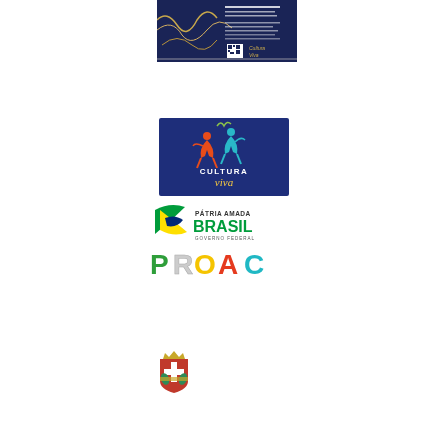[Figure (screenshot): Cropped top portion of a dark navy blue document page with white/gold decorative lines and a QR code, labeled 'Cultura Viva']
[Figure (logo): Cultura Viva logo: dark blue square with colorful dancing figures and text 'CULTURA viva']
[Figure (logo): Patria Amada Brasil - Governo Federal logo with green and yellow Brazilian flag flag graphic]
[Figure (logo): PROAC logo with colorful letters P R O A C in green, yellow, orange, red, and teal]
[Figure (logo): São Paulo city coat of arms / municipal seal in red, green and gold]